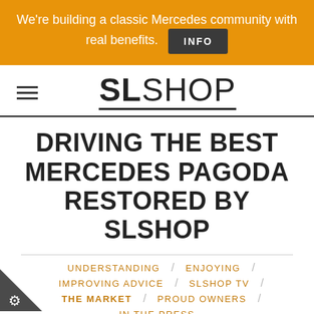We're building a classic Mercedes community with real benefits. INFO
[Figure (logo): SLSHOP logo with hamburger menu icon and bold SLSHOP text with underline]
DRIVING THE BEST MERCEDES PAGODA RESTORED BY SLSHOP
UNDERSTANDING
ENJOYING
IMPROVING ADVICE
SLSHOP TV
THE MARKET
PROUD OWNERS
IN THE PRESS